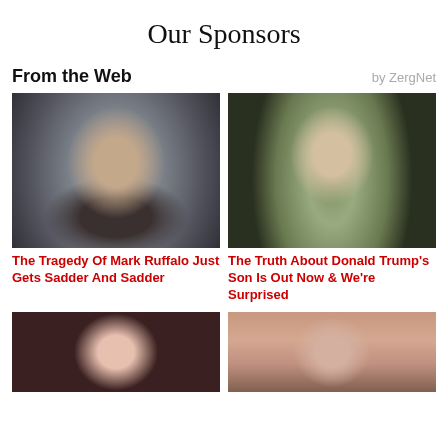Our Sponsors
From the Web
by ZergNet
[Figure (photo): Close-up photo of Mark Ruffalo, middle-aged man with salt-and-pepper hair and stubble, wearing a dark jacket]
The Tragedy Of Mark Ruffalo Just Gets Sadder And Sadder
[Figure (photo): Photo of a young teenage boy with light brown hair, wearing a white shirt and dark jacket, looking at the camera]
The Truth About Donald Trump's Son Is Out Now & We're Surprised
[Figure (photo): Partial photo of a woman with reddish-brown hair in front of a pink background with partial red text visible]
[Figure (photo): Partial photo of a woman with dark features looking to the side]